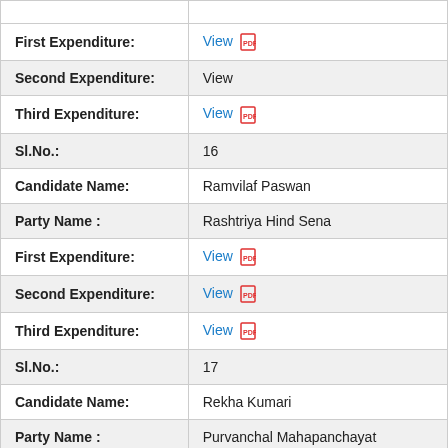| Field | Value |
| --- | --- |
| First Expenditure: | View [pdf] |
| Second Expenditure: | View |
| Third Expenditure: | View [pdf] |
| Sl.No.: | 16 |
| Candidate Name: | Ramvilaf Paswan |
| Party Name : | Rashtriya Hind Sena |
| First Expenditure: | View [pdf] |
| Second Expenditure: | View [pdf] |
| Third Expenditure: | View [pdf] |
| Sl.No.: | 17 |
| Candidate Name: | Rekha Kumari |
| Party Name : | Purvanchal Mahapanchayat |
| First Expenditure: | View [pdf] |